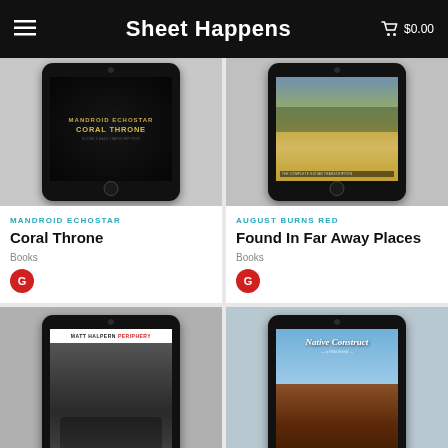Sheet Happens  $0.00
[Figure (photo): Tablet showing Mandroid Echostar - Coral Throne book cover]
MANDROID ECHOSTAR
Coral Throne
Books
[Figure (photo): Tablet showing August Burns Red - Found In Far Away Places book cover]
AUGUST BURNS RED
Found In Far Away Places
Books
[Figure (photo): Tablet showing Matt Halpern Periphery book cover with drum kit]
[Figure (photo): Tablet showing Native Construct book cover]